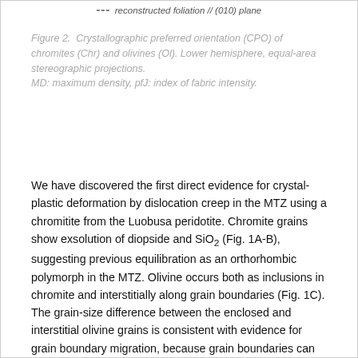– reconstructed foliation // (010) plane
Figure 2.  Crystallographic preferred orientation (CPO) of chromites (Chr) and olivines (Ol). Lower hemisphere, equal-area stereographic projections.
MD: maximum density, pfJ: index of fabric intensity.
We have discovered the first direct evidence for crystal-plastic deformation by dislocation creep in the MTZ using a chromitite from the Luobusa peridotite. Chromite grains show exsolution of diopside and SiO2 (Fig. 1A-B), suggesting previous equilibration as an orthorhombic polymorph in the MTZ. Olivine occurs both as inclusions in chromite and interstitially along grain boundaries (Fig. 1C). The grain-size difference between the enclosed and interstitial olivine grains is consistent with evidence for grain boundary migration, because grain boundaries can readily migrate across small grains but can be pinned by larger grains. A